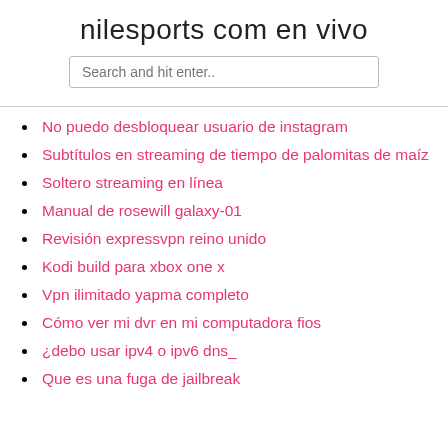nilesports com en vivo
No puedo desbloquear usuario de instagram
Subtítulos en streaming de tiempo de palomitas de maíz
Soltero streaming en línea
Manual de rosewill galaxy-01
Revisión expressvpn reino unido
Kodi build para xbox one x
Vpn ilimitado yapma completo
Cómo ver mi dvr en mi computadora fios
¿debo usar ipv4 o ipv6 dns_
Que es una fuga de jailbreak